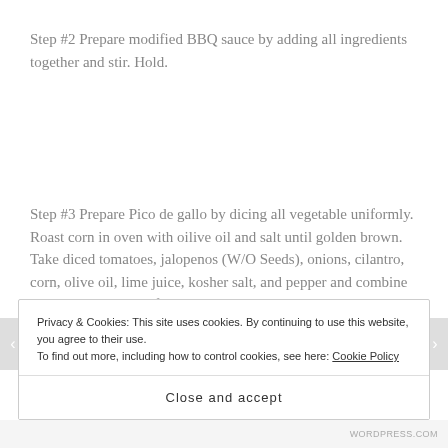Step #2 Prepare modified BBQ sauce by adding all ingredients together and stir. Hold.
Step #3 Prepare Pico de gallo by dicing all vegetable uniformly. Roast corn in oven with oilive oil and salt until golden brown. Take diced tomatoes, jalopenos (W/O Seeds), onions, cilantro, corn, olive oil, lime juice, kosher salt, and pepper and combine in a bowl and let set for a
Privacy & Cookies: This site uses cookies. By continuing to use this website, you agree to their use.
To find out more, including how to control cookies, see here: Cookie Policy
Close and accept